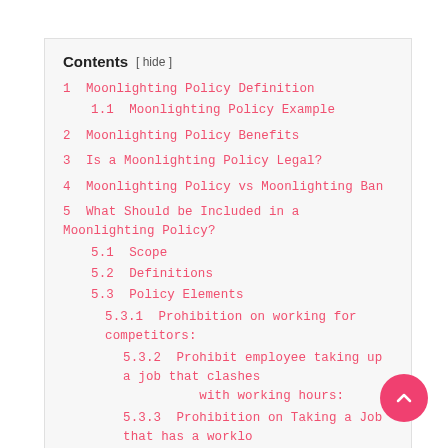Contents [ hide ]
1  Moonlighting Policy Definition
1.1  Moonlighting Policy Example
2  Moonlighting Policy Benefits
3  Is a Moonlighting Policy Legal?
4  Moonlighting Policy vs Moonlighting Ban
5  What Should be Included in a Moonlighting Policy?
5.1  Scope
5.2  Definitions
5.3  Policy Elements
5.3.1  Prohibition on working for competitors:
5.3.2  Prohibit employee taking up a job that clashes with working hours:
5.3.3  Prohibition on Taking a Job that has a workload that is too demanding: